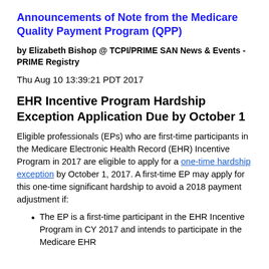Announcements of Note from the Medicare Quality Payment Program (QPP)
by Elizabeth Bishop @ TCPI/PRIME SAN News & Events - PRIME Registry
Thu Aug 10 13:39:21 PDT 2017
EHR Incentive Program Hardship Exception Application Due by October 1
Eligible professionals (EPs) who are first-time participants in the Medicare Electronic Health Record (EHR) Incentive Program in 2017 are eligible to apply for a one-time hardship exception by October 1, 2017. A first-time EP may apply for this one-time significant hardship to avoid a 2018 payment adjustment if:
The EP is a first-time participant in the EHR Incentive Program in CY 2017 and intends to participate in the Medicare EHR